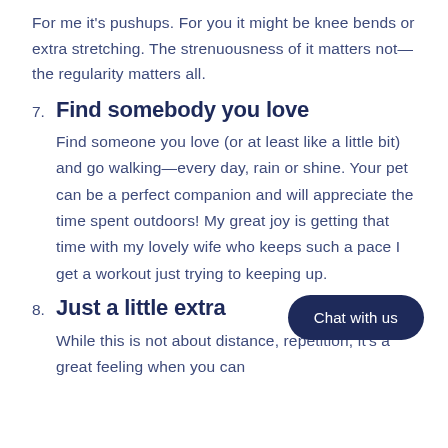For me it's pushups. For you it might be knee bends or extra stretching. The strenuousness of it matters not—the regularity matters all.
7. Find somebody you love
Find someone you love (or at least like a little bit) and go walking—every day, rain or shine. Your pet can be a perfect companion and will appreciate the time spent outdoors! My great joy is getting that time with my lovely wife who keeps such a pace I get a workout just trying to keeping up.
8. Just a little extra
While this is not about distance, repetition, it's a great feeling when you can